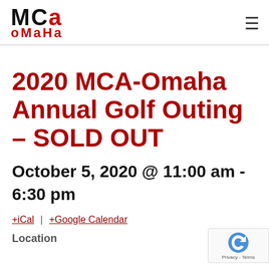MCA Omaha logo and navigation
2020 MCA-Omaha Annual Golf Outing – SOLD OUT
October 5, 2020 @ 11:00 am - 6:30 pm
+iCal | +Google Calendar
Location